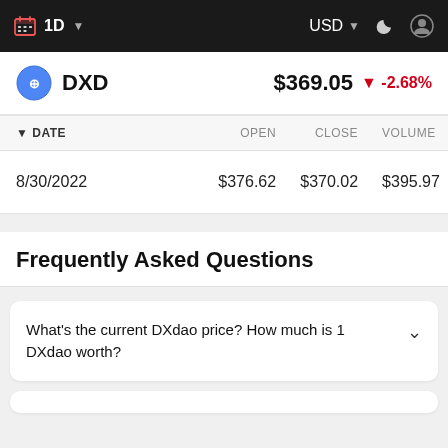1D | USD
DXD $369.05 ▼ -2.68%
| DATE | OPEN | CLOSE | VOLUME |
| --- | --- | --- | --- |
| 8/30/2022 | $376.62 | $370.02 | $395.97 |
Frequently Asked Questions
What's the current DXdao price? How much is 1 DXdao worth?